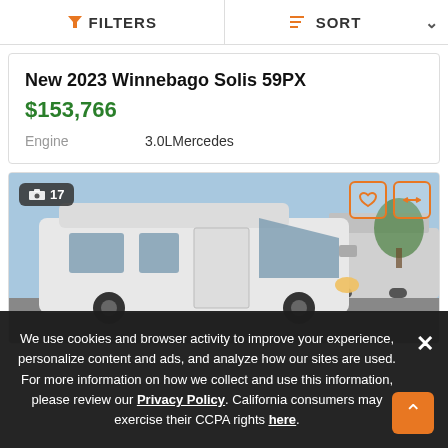FILTERS | SORT
New 2023 Winnebago Solis 59PX
$153,766
Engine   3.0LMercedes
[Figure (photo): White Winnebago Solis 59PX van/RV parked in a lot, front three-quarter view, blue sky background, other RVs visible in background. Badge shows 17 photos.]
We use cookies and browser activity to improve your experience, personalize content and ads, and analyze how our sites are used. For more information on how we collect and use this information, please review our Privacy Policy. California consumers may exercise their CCPA rights here.